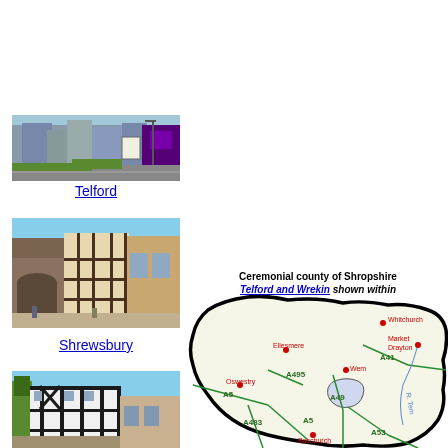[Figure (photo): Photo of Telford town center with buildings and road]
Telford
[Figure (photo): Photo of Shrewsbury historic square with timber-framed buildings]
Shrewsbury
[Figure (photo): Photo of Shrewsbury street with black-and-white timber-framed building]
[Figure (map): Map of Ceremonial county of Shropshire with Telford and Wrekin shown within it. Shows towns including Whitchurch, Market Drayton, Ellesmere, Oswestry, Wem, Baschurch and roads A5, A495, A41, A483, A49, A53]
Ceremonial county of Shropshire. Telford and Wrekin shown within.